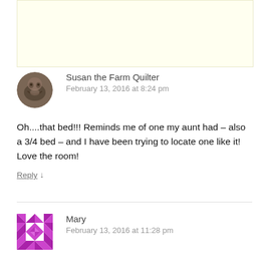[Figure (other): Light yellow advertisement banner placeholder]
[Figure (photo): Circular avatar photo of Susan the Farm Quilter, showing a nature/floral image]
Susan the Farm Quilter
February 13, 2016 at 8:24 pm
Oh....that bed!!! Reminds me of one my aunt had – also a 3/4 bed – and I have been trying to locate one like it! Love the room!
Reply ↓
[Figure (illustration): Square avatar with purple/magenta geometric quilt-pattern design for Mary]
Mary
February 13, 2016 at 11:28 pm